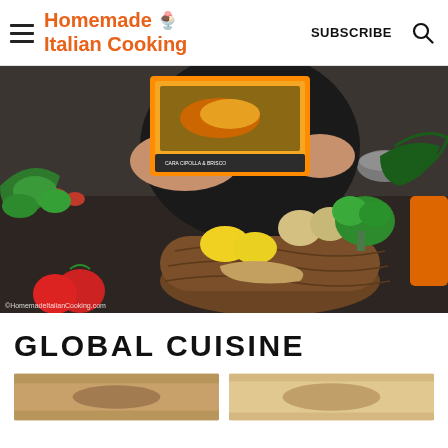Homemade Italian Cooking | SUBSCRIBE
[Figure (photo): Woman in a kitchen holding up a meal kit box, with a basket of fresh vegetables including lemons, onions, ginger, broccoli, and kale in the foreground, along with basil and tomatoes. Watermark: HomemadeItalianCooking.com]
GLOBAL CUISINE
[Figure (photo): Thumbnail image of a dish on the left]
[Figure (photo): Thumbnail image on the right]